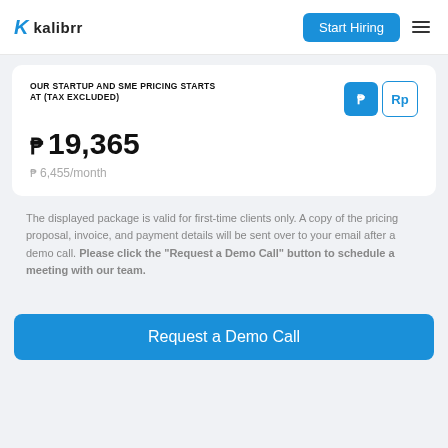kalibrr — Start Hiring
OUR STARTUP AND SME PRICING STARTS AT (TAX EXCLUDED)
₱ 19,365
₱ 6,455/month
The displayed package is valid for first-time clients only. A copy of the pricing proposal, invoice, and payment details will be sent over to your email after a demo call. Please click the "Request a Demo Call" button to schedule a meeting with our team.
Request a Demo Call